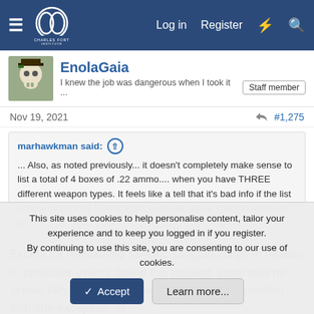Charles Fort Institute — Log in  Register
EnolaGaia
I knew the job was dangerous when I took it ...  Staff member
Nov 19, 2021  #1,275
marhawkman said: ... Also, as noted previously... it doesn't completely make sense to list a total of 4 boxes of .22 ammo.... when you have THREE different weapon types. It feels like a tell that it's bad info if the list of how much they fired doesn't even talk about shotgun ammo at all..
Except for mentioning specific shotgun firings in relation to particular events during the incident, there was no similar tally claimed for shotgun ammo consumption - with one exception. In
This site uses cookies to help personalise content, tailor your experience and to keep you logged in if you register.
By continuing to use this site, you are consenting to our use of cookies.